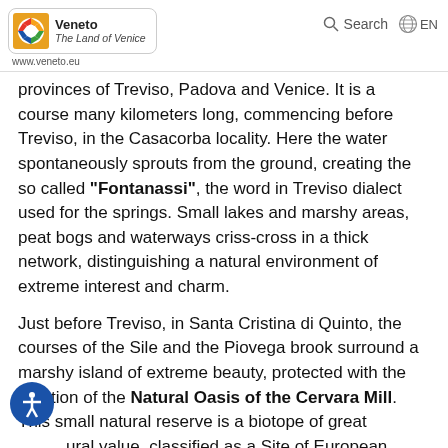Veneto The Land of Venice | www.veneto.eu | Search | EN
provinces of Treviso, Padova and Venice. It is a course many kilometers long, commencing before Treviso, in the Casacorba locality. Here the water spontaneously sprouts from the ground, creating the so called "Fontanassi", the word in Treviso dialect used for the springs. Small lakes and marshy areas, peat bogs and waterways criss-cross in a thick network, distinguishing a natural environment of extreme interest and charm.
Just before Treviso, in Santa Cristina di Quinto, the courses of the Sile and the Piovega brook surround a marshy island of extreme beauty, protected with the creation of the Natural Oasis of the Cervara Mill. This small natural reserve is a biotope of great natural value, classified as a Site of European Significance (S.I.C.) since wild fauna finds refuge here and the spontaneous flora of the Sile can be